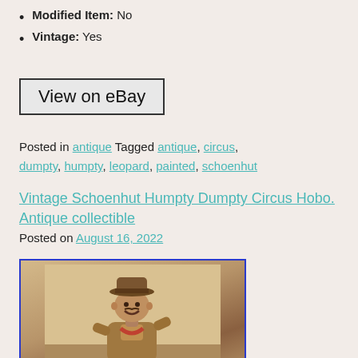Modified Item: No
Vintage: Yes
View on eBay
Posted in antique Tagged antique, circus, dumpty, humpty, leopard, painted, schoenhut
Vintage Schoenhut Humpty Dumpty Circus Hobo. Antique collectible
Posted on August 16, 2022
[Figure (photo): Vintage Schoenhut Humpty Dumpty Circus Hobo antique toy figure, photographed against a light background, wearing a hat and period clothing.]